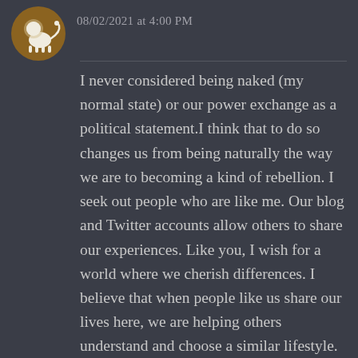[Figure (illustration): Circular brown avatar icon with a white lion silhouette]
08/02/2021 at 4:00 PM
I never considered being naked (my normal state) or our power exchange as a political statement.I think that to do so changes us from being naturally the way we are to becoming a kind of rebellion. I seek out people who are like me. Our blog and Twitter accounts allow others to share our experiences. Like you, I wish for a world where we cherish differences. I believe that when people like us share our lives here, we are helping others understand and choose a similar lifestyle.